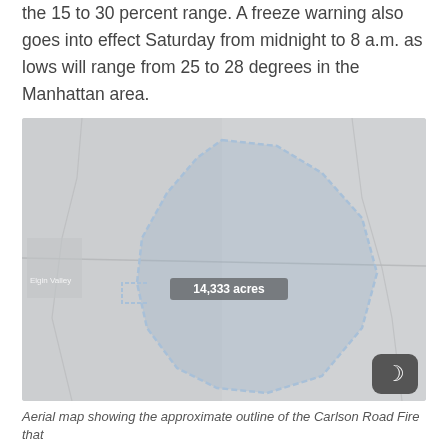the 15 to 30 percent range. A freeze warning also goes into effect Saturday from midnight to 8 a.m. as lows will range from 25 to 28 degrees in the Manhattan area.
[Figure (map): Aerial map showing the approximate outline of the Carlson Road Fire, displayed with a light gray satellite base map. A blue polygon outlines the fire perimeter. A label in the center reads approximately '14,333 acres'. A dark rounded square icon with a crescent moon symbol appears in the bottom-right corner.]
Aerial map showing the approximate outline of the Carlson Road Fire that